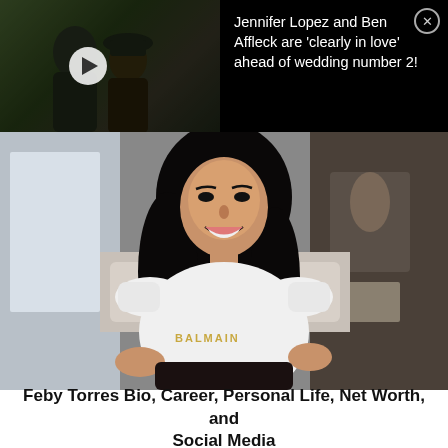[Figure (photo): Video thumbnail showing a couple (Jennifer Lopez and Ben Affleck) embracing outdoors with a play button overlay, on a black background]
Jennifer Lopez and Ben Affleck are 'clearly in love' ahead of wedding number 2!
[Figure (photo): Portrait photo of Feby Torres, a woman with long curly dark hair wearing a white fitted Balmain t-shirt, smiling at the camera, seated indoors]
Feby Torres Bio, Career, Personal Life, Net Worth, and Social Media